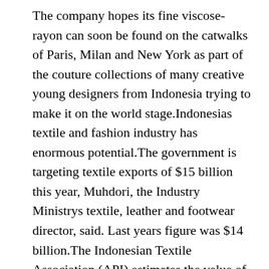The company hopes its fine viscose-rayon can soon be found on the catwalks of Paris, Milan and New York as part of the couture collections of many creative young designers from Indonesia trying to make it on the world stage.Indonesias textile and fashion industry has enormous potential.The government is targeting textile exports of $15 billion this year, Muhdori, the Industry Ministrys textile, leather and footwear director, said. Last years figure was $14 billion.The Indonesian Textile Association (API) estimates the value of Indonesian textile exports can reach a whopping Rp 444 trillion ($31 billion) by 2025.APR is the future of Indonesian textiles, simply because dissolved pulp is the future of the global textile industry, Muhdori said.
APRs director Basrie Kamba said locally made viscose-rayon will offer a big boost to Indonesias creative economysomething President Jokowi has